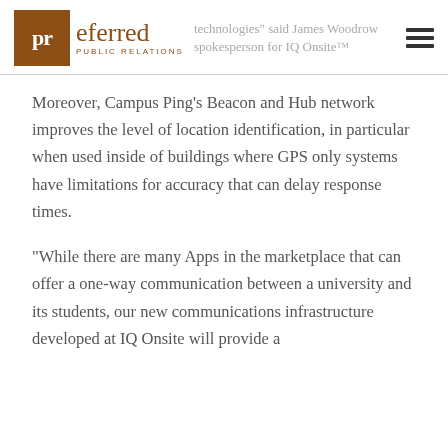technologies" said James Woodrow spokesperson for IQ Onsite™
Moreover, Campus Ping's Beacon and Hub network improves the level of location identification, in particular when used inside of buildings where GPS only systems have limitations for accuracy that can delay response times.
“While there are many Apps in the marketplace that can offer a one-way communication between a university and its students, our new communications infrastructure developed at IQ Onsite will provide a